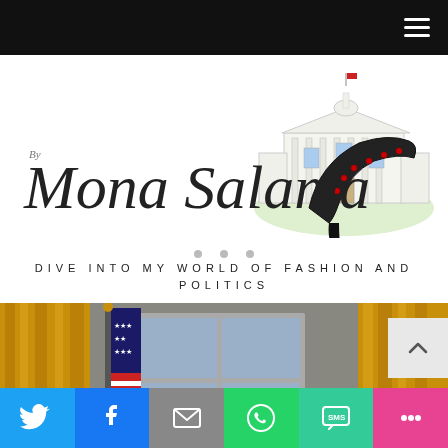Navigation bar with hamburger menu
[Figure (logo): By Mona Salama blog logo — cursive script text 'By Mona Salama' alongside an illustration of the White House and a stiletto shoe with studs]
DIVE INTO MY WORLD OF FASHION AND POLITICS
[Figure (photo): Photo of the Oval Office showing gold curtains, an American flag, and a window]
Social share bar: Twitter, Facebook, Email, WhatsApp, SMS, More